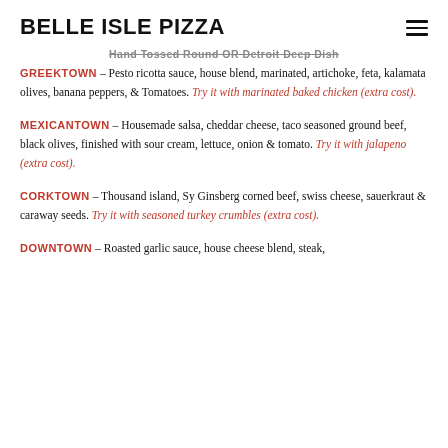BELLE ISLE PIZZA
Hand Tossed Round OR Detroit Deep Dish
GREEKTOWN – Pesto ricotta sauce, house blend, marinated, artichoke, feta, kalamata olives, banana peppers, & Tomatoes. Try it with marinated baked chicken (extra cost).
MEXICANTOWN – Housemade salsa, cheddar cheese, taco seasoned ground beef, black olives, finished with sour cream, lettuce, onion & tomato. Try it with jalapeno (extra cost).
CORKTOWN – Thousand island, Sy Ginsberg corned beef, swiss cheese, sauerkraut & caraway seeds. Try it with seasoned turkey crumbles (extra cost).
DOWNTOWN – Roasted garlic sauce, house cheese blend, steak,